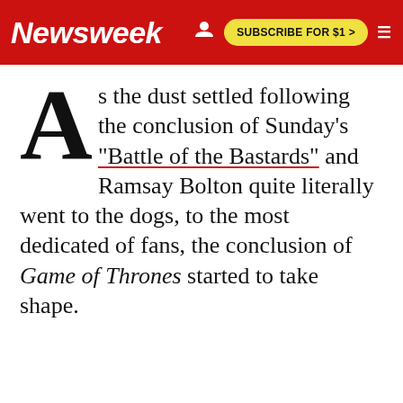Newsweek | SUBSCRIBE FOR $1 >
As the dust settled following the conclusion of Sunday's "Battle of the Bastards" and Ramsay Bolton quite literally went to the dogs, to the most dedicated of fans, the conclusion of Game of Thrones started to take shape.